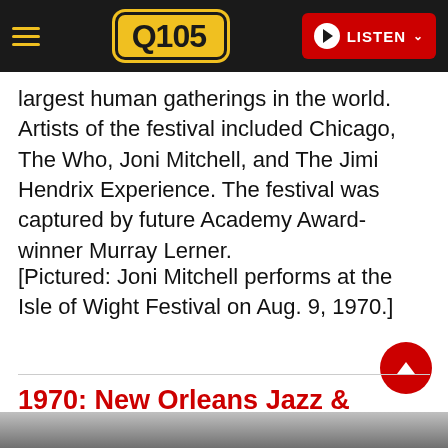Q105 — LISTEN
largest human gatherings in the world. Artists of the festival included Chicago, The Who, Joni Mitchell, and The Jimi Hendrix Experience. The festival was captured by future Academy Award-winner Murray Lerner.
[Pictured: Joni Mitchell performs at the Isle of Wight Festival on Aug. 9, 1970.]
1970: New Orleans Jazz & Heritage Festival
[Figure (photo): Partial grayscale photograph at the bottom of the page, partially cut off, showing what appears to be a performance or festival scene.]